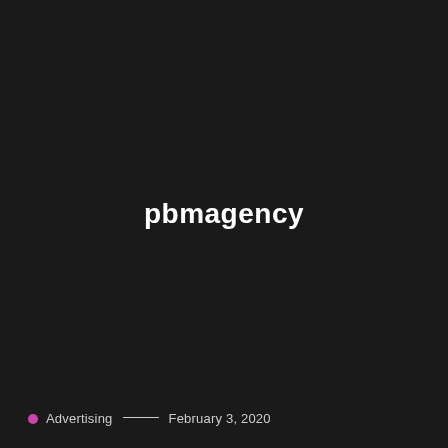pbmagency
Advertising — February 3, 2020